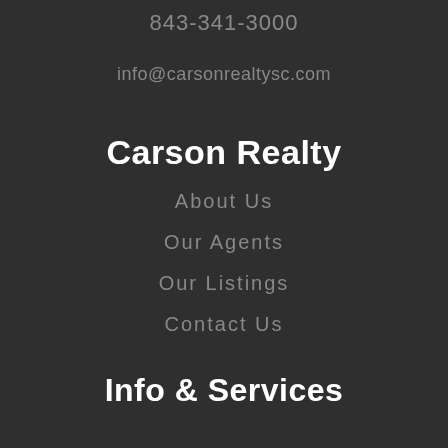843-341-3000
info@carsonrealtysc.com
Carson Realty
About Us
Our Agents
Our Listings
Contact Us
Info & Services